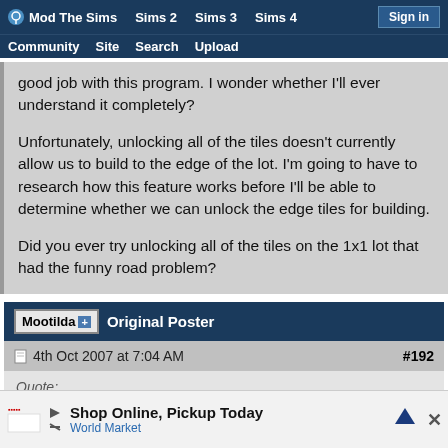Mod The Sims | Sims 2 | Sims 3 | Sims 4 | Sign in | Community | Site | Search | Upload
good job with this program. I wonder whether I'll ever understand it completely?

Unfortunately, unlocking all of the tiles doesn't currently allow us to build to the edge of the lot. I'm going to have to research how this feature works before I'll be able to determine whether we can unlock the edge tiles for building.

Did you ever try unlocking all of the tiles on the 1x1 lot that had the funny road problem?
Mootilda [+] Original Poster
4th Oct 2007 at 7:04 AM  #192
Quote:
[Figure (screenshot): Advertisement banner: Shop Online, Pickup Today - World Market with logo and close button]